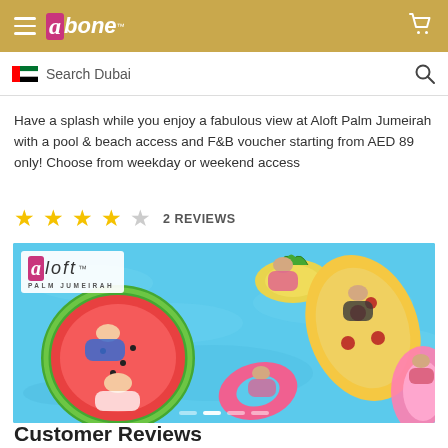cobone
Search Dubai
Have a splash while you enjoy a fabulous view at Aloft Palm Jumeirah with a pool & beach access and F&B voucher starting from AED 89 only! Choose from weekday or weekend access
2 REVIEWS
[Figure (photo): Aerial view of people floating on colorful inflatable pool floats (watermelon, pineapple, pizza, flamingo shapes) in a bright blue pool. Aloft Palm Jumeirah logo visible in top-left corner.]
Customer Reviews